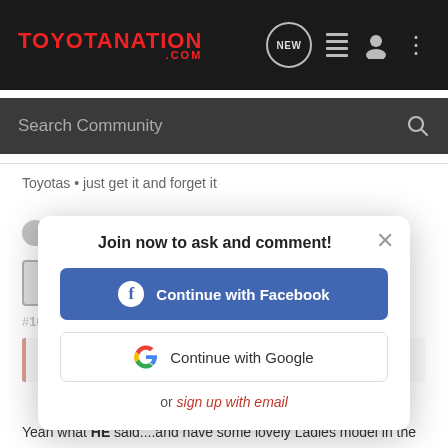TOYOTANATION .COM
Search Community
Toyotas • just get it and forget it
Reply  Quote
[Figure (screenshot): Join now modal overlay with Continue with Facebook button, Continue with Google button, and or sign up with email link]
Old D[ood] · Premium Member
Joined Feb 2[...] [...]
#[10] · Feb 1, 2007
Camread said:
please take some pictures when you get a chance k...
Yeah what HE said....and have some lovely Ladies model in the